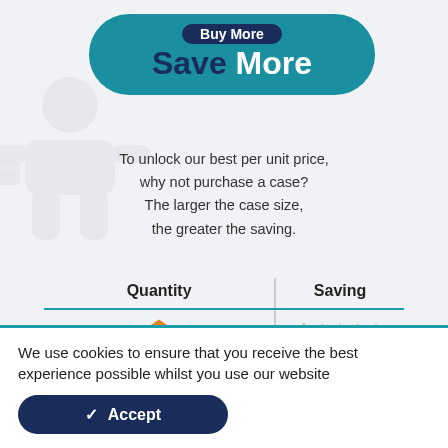Buy More Save More
To unlock our best per unit price, why not purchase a case? The larger the case size, the greater the saving.
| Quantity | Saving |
| --- | --- |
| 1 box | 1 star |
| 3 boxes | 3 stars |
| 6 boxes | 5 stars |
We use cookies to ensure that you receive the best experience possible whilst you use our website